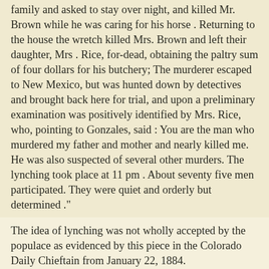family and asked to stay over night, and killed Mr. Brown while he was caring for his horse . Returning to the house the wretch killed Mrs. Brown and left their daughter, Mrs . Rice, for-dead, obtaining the paltry sum of four dollars for his butchery; The murderer escaped to New Mexico, but was hunted down by detectives and brought back here for trial, and upon a preliminary examination was positively identified by Mrs. Rice, who, pointing to Gonzales, said : You are the man who murdered my father and mother and nearly killed me. He was also suspected of several other murders. The lynching took place at 11 pm . About seventy five men participated. They were quiet and orderly but determined ."
The idea of lynching was not wholly accepted by the populace as evidenced by this piece in the Colorado Daily Chieftain from January 22, 1884.
:"The saddest thing about the Ouray lynching is the fact that it made an orphan of a little two year old girl. It is said that the people of Ouray endorse the action of the mob, but we predict that they will soon regret it. That act has placed a stigma upon Ouray which will require many years to outlive and wipe from the memories of law abiding people."